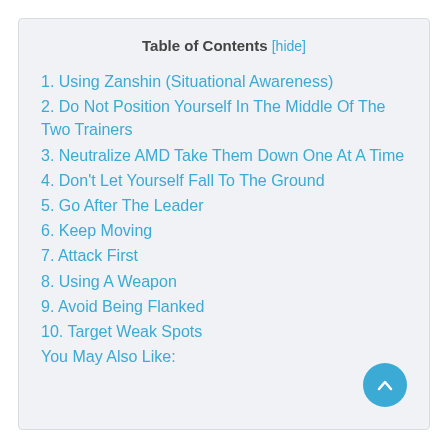Table of Contents [hide]
1. Using Zanshin (Situational Awareness)
2. Do Not Position Yourself In The Middle Of The Two Trainers
3. Neutralize AMD Take Them Down One At A Time
4. Don't Let Yourself Fall To The Ground
5. Go After The Leader
6. Keep Moving
7. Attack First
8. Using A Weapon
9. Avoid Being Flanked
10. Target Weak Spots
You May Also Like: